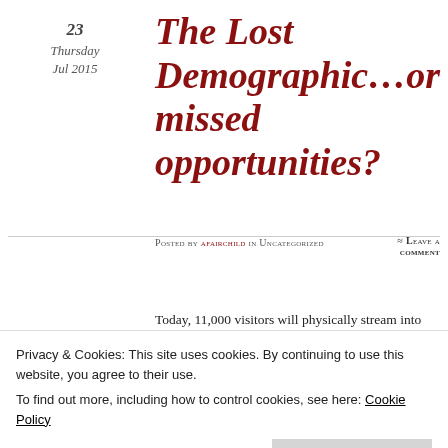23
Thursday
Jul 2015
The Lost Demographic…or missed opportunities?
Posted by afairchild in Uncategorized
≈ Leave a comment
Today, 11,000 visitors will physically stream into Belgium for Tomorrowland, with many more attending virtually. And as I see all the local marketing efforts towards them, I really start to realize that I am part of
Tags
Privacy & Cookies: This site uses cookies. By continuing to use this website, you agree to their use.
To find out more, including how to control cookies, see here: Cookie Policy
Close and accept
demographic is not interesting to marketers anymore.
spend